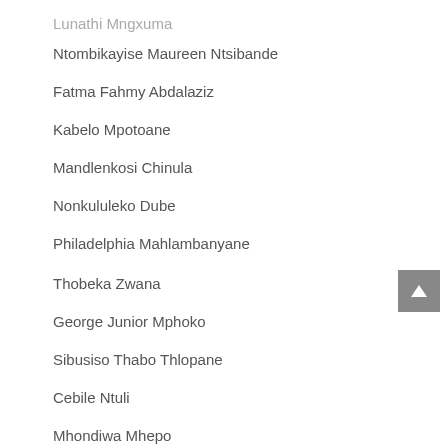Lunathi Mngxuma
Ntombikayise Maureen Ntsibande
Fatma Fahmy Abdalaziz
Kabelo Mpotoane
Mandlenkosi Chinula
Nonkululeko Dube
Philadelphia Mahlambanyane
Thobeka Zwana
George Junior Mphoko
Sibusiso Thabo Thlopane
Cebile Ntuli
Mhondiwa Mhepo